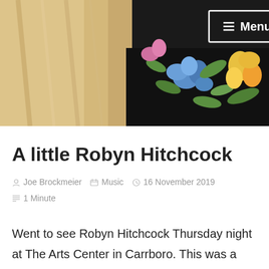[Figure (photo): Header photo of Robyn Hitchcock wearing a floral shirt with black background and colorful flowers (blue, yellow, green), with blonde/light hair visible on the left side. A white-bordered 'Menu' button with hamburger icon is overlaid at the top center.]
A little Robyn Hitchcock
Joe Brockmeier  Music  16 November 2019  1 Minute
Went to see Robyn Hitchcock Thursday night at The Arts Center in Carrboro. This was a solo acoustic show, joined for a few songs by Emma Swift. Before the show Emma was working the